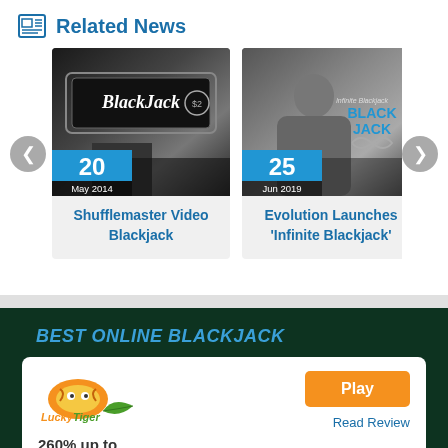Related News
[Figure (screenshot): News card: blackjack casino image (grayscale), date badge showing 20 May 2014]
Shufflemaster Video Blackjack
[Figure (screenshot): News card: Evolution Infinite Blackjack promo image (grayscale), date badge showing 25 Jun 2019]
Evolution Launches 'Infinite Blackjack'
BEST ONLINE BLACKJACK
[Figure (logo): Lucky Tiger casino logo]
Play
Read Review
260% up to